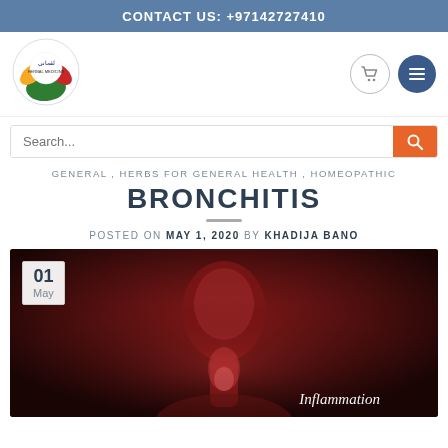CONTACT US: +97142727410
[Figure (logo): Luqmani Herbal Medicine circular logo with Arabic text and green/yellow/red leaf design]
Search...
GENERAL, HERBS FOR GENERAL HEALTH, HOMEOPATHIC
BRONCHITIS
POSTED ON MAY 1, 2020 BY KHADIJA BANO
[Figure (photo): 3D medical illustration of a human figure with highlighted throat/respiratory area in red on dark background, with text 'Inflammation' in bottom right. Date badge showing '01 May' in top left corner.]